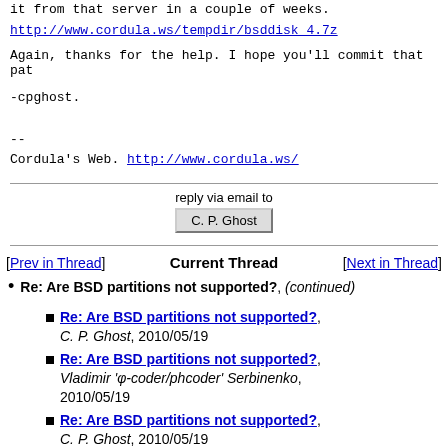it from that server in a couple of weeks.
http://www.cordula.ws/tempdir/bsddisk_4.7z
Again, thanks for the help. I hope you'll commit that pat
-cpghost.

--
Cordula's Web. http://www.cordula.ws/
reply via email to
C. P. Ghost
[Prev in Thread]   Current Thread   [Next in Thread]
Re: Are BSD partitions not supported?, (continued)
Re: Are BSD partitions not supported?, C. P. Ghost, 2010/05/19
Re: Are BSD partitions not supported?, Vladimir 'φ-coder/phcoder' Serbinenko, 2010/05/19
Re: Are BSD partitions not supported?, C. P. Ghost, 2010/05/19
Re: Are BSD partitions not supported?